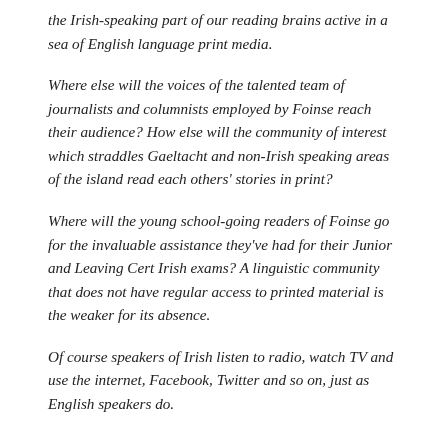the Irish-speaking part of our reading brains active in a sea of English language print media.
Where else will the voices of the talented team of journalists and columnists employed by Foinse reach their audience? How else will the community of interest which straddles Gaeltacht and non-Irish speaking areas of the island read each others' stories in print?
Where will the young school-going readers of Foinse go for the invaluable assistance they've had for their Junior and Leaving Cert Irish exams? A linguistic community that does not have regular access to printed material is the weaker for its absence.
Of course speakers of Irish listen to radio, watch TV and use the internet, Facebook, Twitter and so on, just as English speakers do.